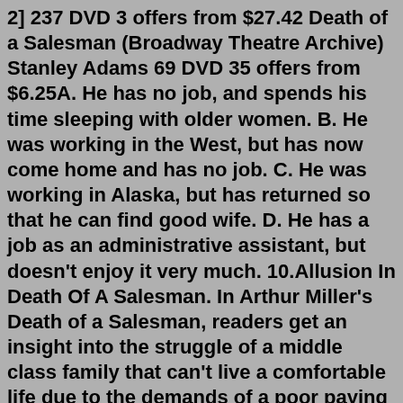2] 237 DVD 3 offers from $27.42 Death of a Salesman (Broadway Theatre Archive) Stanley Adams 69 DVD 35 offers from $6.25A. He has no job, and spends his time sleeping with older women. B. He was working in the West, but has now come home and has no job. C. He was working in Alaska, but has returned so that he can find good wife. D. He has a job as an administrative assistant, but doesn't enjoy it very much. 10.Allusion In Death Of A Salesman. In Arthur Miller's Death of a Salesman, readers get an insight into the struggle of a middle class family that can't live a comfortable life due to the demands of a poor paying job with little rewards and promise. The man of the family, Willy Loman, can't give up the past glorious success he once had as a ...Death of a Salesman: Imagery & Sumbolism. The Death of a Salesman was a tale of broken dreams, aspirations of the characters and unfulfilled promises. The Loman family is portrayed in the play as a dysfunctional family, each member with his or her issues. Symbolic Characters in "Death of a Salesman" by Arthur